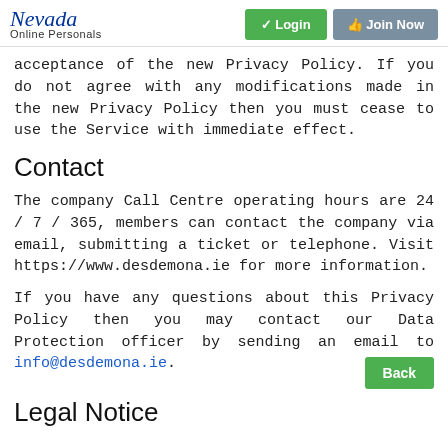Nevada Online Personals | Login | Join Now
acceptance of the new Privacy Policy. If you do not agree with any modifications made in the new Privacy Policy then you must cease to use the Service with immediate effect.
Contact
The company Call Centre operating hours are 24 / 7 / 365, members can contact the company via email, submitting a ticket or telephone. Visit https://www.desdemona.ie for more information.
If you have any questions about this Privacy Policy then you may contact our Data Protection officer by sending an email to info@desdemona.ie.
Legal Notice